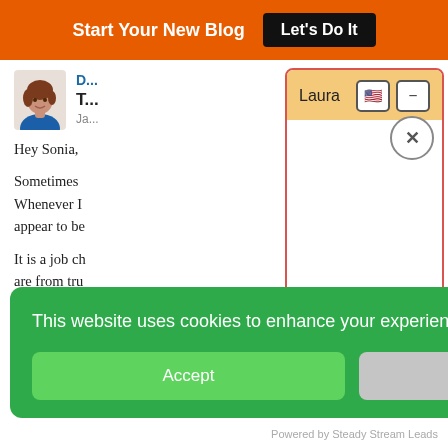Start Your New Blog  Let's Do It
D...
T...
Ja...
Hey Sonia,
Sometimes... Whenever I... appear to be...
It is a job ch... are from tru...
[Figure (screenshot): Chat popup widget with header 'Laura', US flag and minimize buttons, an X close button, and empty white chat body area. Orange/tan header background, red border.]
This website uses cookies to enhance your experience & analyze data.
Accept    Decline
Powered by Steady Stream Leads